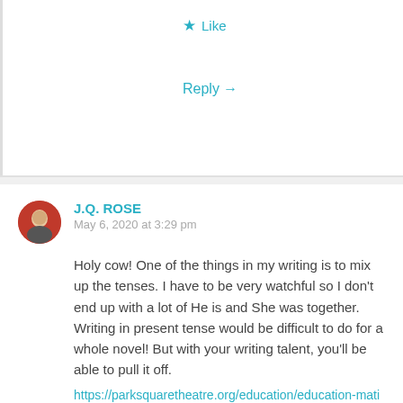★ Like
Reply →
J.Q. ROSE
May 6, 2020 at 3:29 pm
Holy cow! One of the things in my writing is to mix up the tenses. I have to be very watchful so I don't end up with a lot of He is and She was together. Writing in present tense would be difficult to do for a whole novel! But with your writing talent, you'll be able to pull it off.
https://parksquaretheatre.org/education/education-matinees-2019-2020-season/education-matinee-2019-20-the-diary-of-anne-frank-videos/?